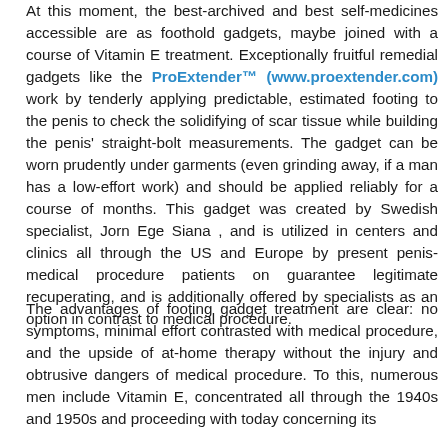At this moment, the best-archived and best self-medicines accessible are as foothold gadgets, maybe joined with a course of Vitamin E treatment. Exceptionally fruitful remedial gadgets like the ProExtender™ (www.proextender.com) work by tenderly applying predictable, estimated footing to the penis to check the solidifying of scar tissue while building the penis' straight-bolt measurements. The gadget can be worn prudently under garments (even grinding away, if a man has a low-effort work) and should be applied reliably for a course of months. This gadget was created by Swedish specialist, Jorn Ege Siana , and is utilized in centers and clinics all through the US and Europe by present penis-medical procedure patients on guarantee legitimate recuperating, and is additionally offered by specialists as an option in contrast to medical procedure.
The advantages of footing gadget treatment are clear: no symptoms, minimal effort contrasted with medical procedure, and the upside of at-home therapy without the injury and obtrusive dangers of medical procedure. To this, numerous men include Vitamin E, concentrated all through the 1940s and 1950s and proceeding with today concerning its advantages in treating blood flow. Another advantage is its